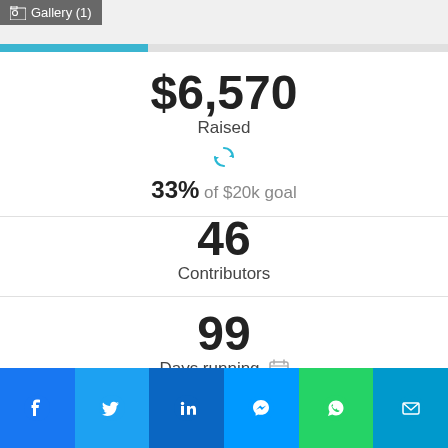[Figure (screenshot): Gallery label with image icon and progress bar at top]
$6,570
Raised
33% of $20k goal
46
Contributors
99
Days running
Donate TODAY!
[Figure (infographic): Social share bar with Facebook, Twitter, LinkedIn, Messenger, WhatsApp, and Email buttons]